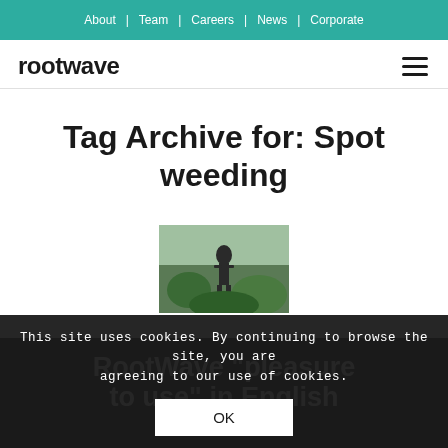About | Team | Careers | News | Corporate
[Figure (logo): Rootwave logo text in dark bold sans-serif font]
Tag Archive for: Spot weeding
[Figure (photo): Thumbnail photo showing a person in a field among plants]
RootWave "pleasure to use" in English...
This site uses cookies. By continuing to browse the site, you are agreeing to our use of cookies.